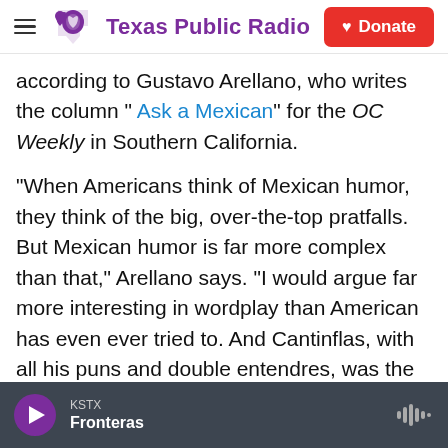Texas Public Radio — Donate
according to Gustavo Arellano, who writes the column " Ask a Mexican" for the OC Weekly in Southern California.
"When Americans think of Mexican humor, they think of the big, over-the-top pratfalls. But Mexican humor is far more complex than that," Arellano says. "I would argue far more interesting in wordplay than American has even ever tried to. And Cantinflas, with all his puns and double entendres, was the grand exemplar of that."
But will today's audiences still find him funny?
KSTX Fronteras